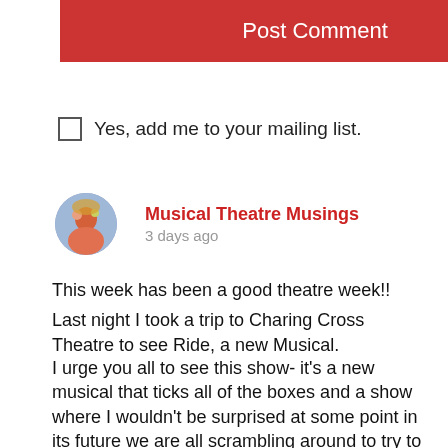[Figure (other): Red button with white text reading Post Comment]
Yes, add me to your mailing list.
Musical Theatre Musings
3 days ago
This week has been a good theatre week!!
Last night I took a trip to Charing Cross Theatre to see Ride, a new Musical.
I urge you all to see this show- it's a new musical that ticks all of the boxes and a show where I wouldn't be surprised at some point in its future we are all scrambling around to try to get tickets!
Ride at Charing Cross Theatre - Musical Theatre Musings
musicaltheatremusings.co.uk
Musical Theatre Musings heads to Charing Cross Theatre to check out new musical, Ride. Read the 4 star review here.